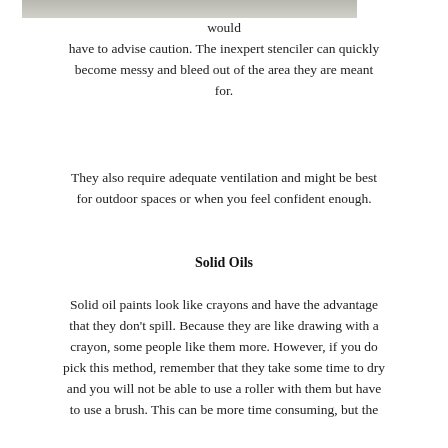[Figure (photo): Top portion of a photo, appears to be a light gray textured surface or outdoor scene]
would have to advise caution. The inexpert stenciler can quickly become messy and bleed out of the area they are meant for.
They also require adequate ventilation and might be best for outdoor spaces or when you feel confident enough.
Solid Oils
Solid oil paints look like crayons and have the advantage that they don't spill. Because they are like drawing with a crayon, some people like them more. However, if you do pick this method, remember that they take some time to dry and you will not be able to use a roller with them but have to use a brush. This can be more time consuming, but the